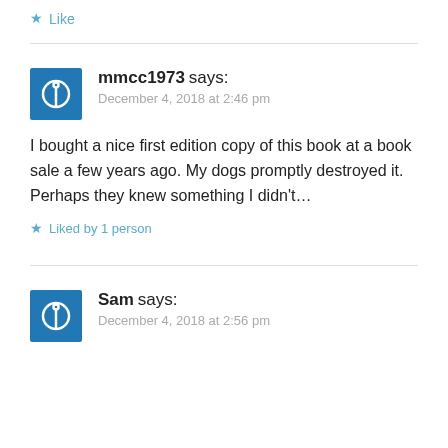Like
mmcc1973 says:
December 4, 2018 at 2:46 pm
I bought a nice first edition copy of this book at a book sale a few years ago. My dogs promptly destroyed it. Perhaps they knew something I didn't...
Liked by 1 person
Sam says:
December 4, 2018 at 2:56 pm